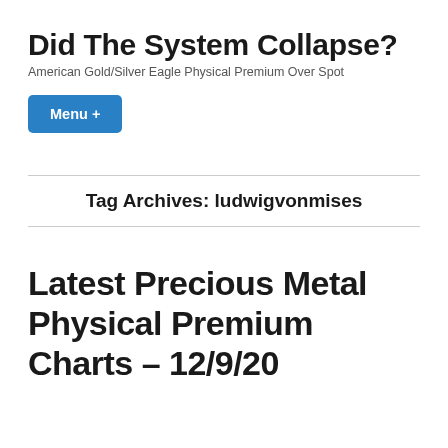Did The System Collapse?
American Gold/Silver Eagle Physical Premium Over Spot
Menu +
Tag Archives: ludwigvonmises
Latest Precious Metal Physical Premium Charts – 12/9/20